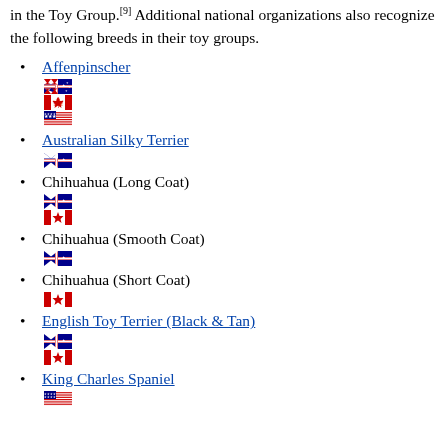in the Toy Group.[9] Additional national organizations also recognize the following breeds in their toy groups.
Affenpinscher [flags: AU, CA, US]
Australian Silky Terrier [flags: AU]
Chihuahua (Long Coat) [flags: AU, CA]
Chihuahua (Smooth Coat) [flags: AU]
Chihuahua (Short Coat) [flags: CA]
English Toy Terrier (Black & Tan) [flags: AU, CA]
King Charles Spaniel [flags: US]